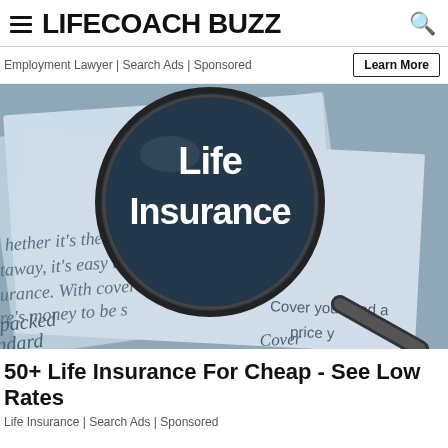LIFECOACH BUZZ
Employment Lawyer | Search Ads | Sponsored
[Figure (photo): A magnifying glass with 'Life Insurance' text on lens, placed over insurance documents with partial text: 'Whether it's the family getaway, it's easy to go insurance. With cover there's money to be saved... are packed standard... Cover you need a price... Cover from...']
50+ Life Insurance For Cheap - See Low Rates
Life Insurance | Search Ads | Sponsored